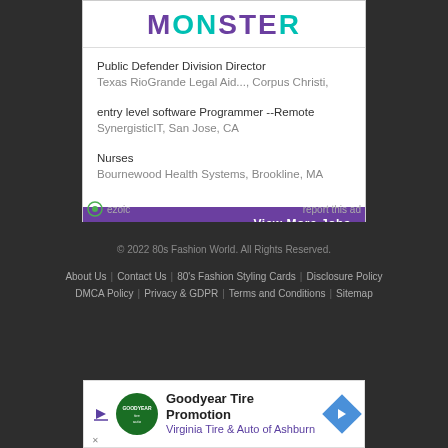[Figure (logo): Monster job board logo with purple and teal letters]
Public Defender Division Director
Texas RioGrande Legal Aid..., Corpus Christi,
entry level software Programmer --Remote
SynergisticIT, San Jose, CA
Nurses
Bournewood Health Systems, Brookline, MA
View More Jobs
ezoic   report this ad
© 2022 80s Fashion World. All Rights Reserved.
About Us   Contact Us   80's Fashion Styling Cards   Disclosure Policy   DMCA Policy   Privacy & GDPR   Terms and Conditions   Sitemap
[Figure (infographic): Goodyear Tire Promotion ad banner with Virginia Tire & Auto of Ashburn text]